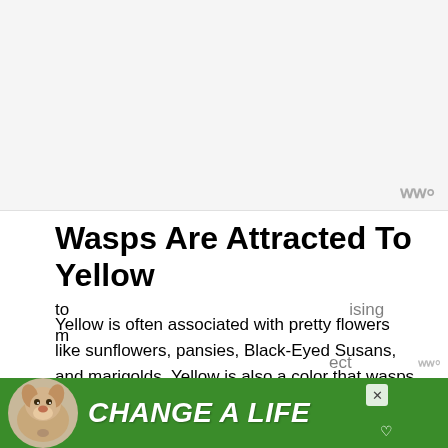[Figure (other): Advertisement banner area at top of page (gray background)]
Wasps Are Attracted To Yellow
Yellow is often associated with pretty flowers like sunflowers, pansies, Black-Eyed Susans, and marigolds. Yellow is also a color that wasps are attracted to.
An article in the Journal of Insect Conservation
[Figure (other): Advertisement banner overlay at bottom: green background with dog photo and text 'CHANGE A LIFE' with close button (×) and heart icon]